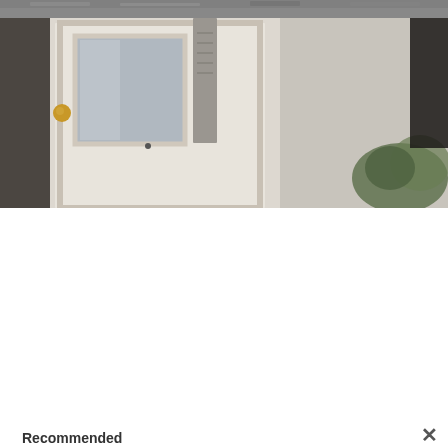[Figure (photo): Top strip of textured stone/gravel surface, cropped photo]
[Figure (photo): Photo of a white door with glass panel, brass doorknob, grey address sign, person in black on right, plant visible]
×
Recommended
[Figure (photo): Thumbnail for The Weekly Lo Down blog post with collage of lifestyle images]
The Weekly Lo Down | 05.14.2021
[Figure (photo): Thumbnail for What I Bought on Amazon in April post showing product collage]
What I Bought on Amazon in April